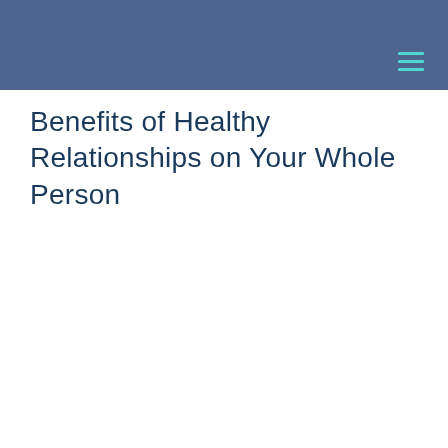Benefits of Healthy Relationships on Your Whole Person